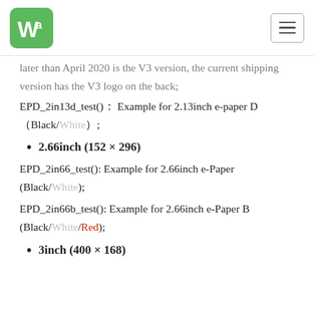Waveshare logo and navigation menu
later than April 2020 is the V3 version, the current shipping version has the V3 logo on the back;
EPD_2in13d_test()： Example for 2.13inch e-paper D（Black/White）;
2.66inch (152 × 296)
EPD_2in66_test(): Example for 2.66inch e-Paper (Black/White);
EPD_2in66b_test(): Example for 2.66inch e-Paper B (Black/White/Red);
3inch (400 × 168)